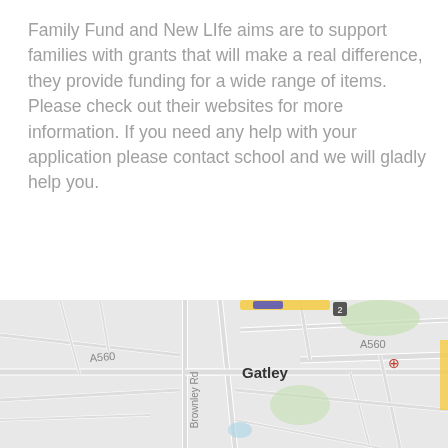Family Fund and New LIfe aims are to support families with grants that will make a real difference, they provide funding for a wide range of items. Please check out their websites for more information. If you need any help with your application please contact school and we will gladly help you.
Family Fund
New LIfe
[Figure (map): Google Maps screenshot showing Gatley area with roads A560, Brownley Rd, and the label 'Gatley' in the center. Road markings and a bus stop icon visible.]